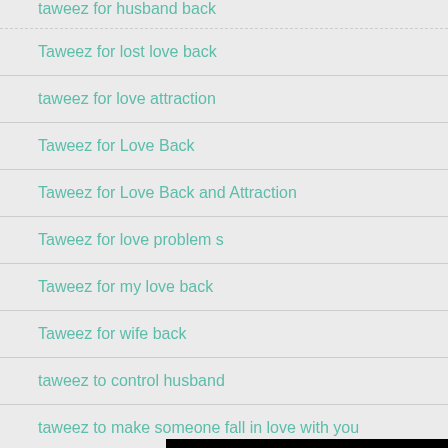taweez for husband back
Taweez for lost love back
taweez for love attraction
Taweez for Love Back
Taweez for Love Back and Attraction
Taweez for love problem s…
Taweez for my love back
Taweez for wife back
taweez to control husband
taweez to make someone fall in love with you